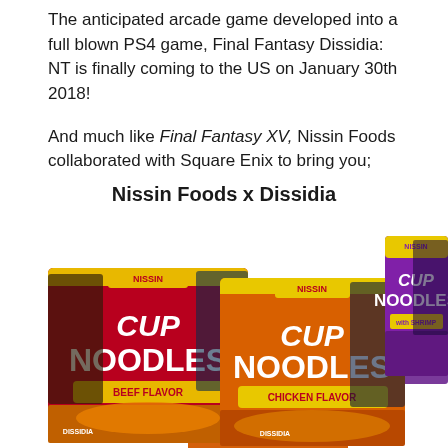The anticipated arcade game developed into a full blown PS4 game, Final Fantasy Dissidia: NT is finally coming to the US on January 30th 2018!

And much like Final Fantasy XV, Nissin Foods collaborated with Square Enix to bring you;
Nissin Foods x Dissidia
[Figure (photo): Multiple Nissin Cup Noodles boxes with Final Fantasy Dissidia themed packaging, showing Beef, Chicken, and Shrimp flavors with anime character artwork on the boxes.]